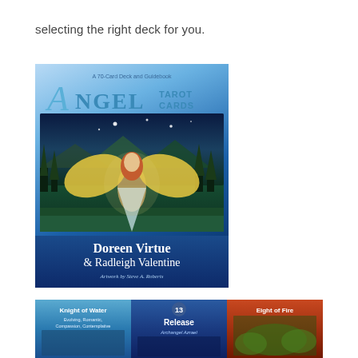selecting the right deck for you.
[Figure (photo): Book cover of 'Angel Tarot Cards' by Doreen Virtue & Radleigh Valentine, artwork by Steve A. Roberts. Features a 70-card deck and guidebook. Shows an angel figure with golden wings in a forest/mountain landscape at night. Blue gradient background with white text for author names at bottom.]
[Figure (photo): Bottom strip showing three tarot cards: Knight of Water (blue, Evolving Romantic Compassion Contemplative), card 13 Release (Archangel Azrael, dark blue), and Eight of Fire (red/crimson background with green foliage).]